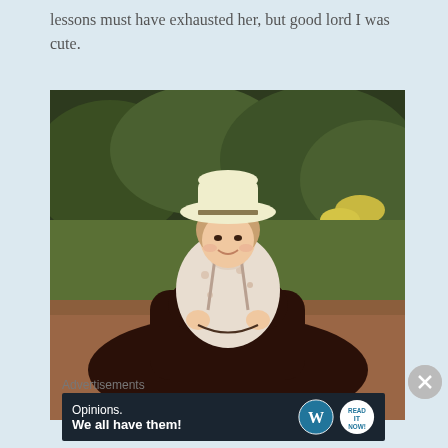lessons must have exhausted her, but good lord I was cute.
[Figure (photo): A young child wearing a white cowboy hat and a floral western shirt, sitting on a dark brown horse in a dirt arena with green trees and brush in the background. The photo appears to be from the 1970s or 1980s based on the color processing.]
Advertisements
[Figure (other): Advertisement banner with dark navy background showing text 'Opinions. We all have them!' with WordPress logo and another circular logo on the right.]